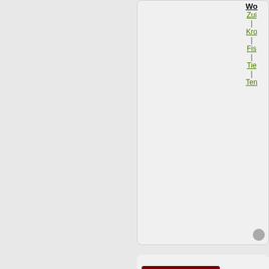[Figure (screenshot): Forum page screenshot showing navigation links (Wo, Zui, Kro, Fis, Tie, Ten) in a right sidebar panel, and below it a forum post by user 'Diarcesia' (Negotiator, Posts: 5605, Founded: Aug 21, 2016, Left-Leaning College State) with an avatar showing a golden dog and anime character on dark red background, posted Sat Nov 16, 2019 5:49 pm, with a QUOTE button, and partial post body text starting with large bold letters S, A, In, Cl, A]